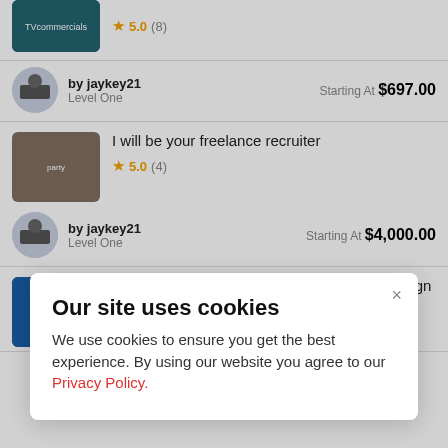[Figure (screenshot): Listing card top portion: thumbnail image (TVcommercials) with star rating 5.0 (8)]
by jaykey21
Level One
Starting At $697.00
I will be your freelance recruiter
5.0 (4)
by jaykey21
Level One
Starting At $4,000.00
I will give you a local SEO domination campaign
Our site uses cookies
We use cookies to ensure you get the best experience. By using our website you agree to our Privacy Policy.
for your website